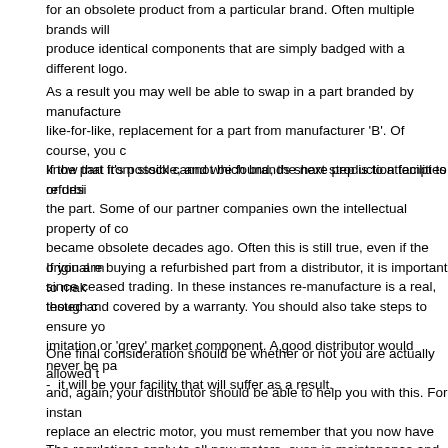for an obsolete product from a particular brand. Often multiple brands will produce identical components that are simply badged with a different logo.
As a result you may well be able to swap in a part branded by manufacturer like-for-like, replacement for a part from manufacturer 'B'. Of course, you c know that it's possible, and which brands share production facilities or desi
If the part from stock cannot be found, the next step is to attempt to refurbi the part. Some of our partner companies own the intellectual property of co became obsolete decades ago. Often this is still true, even if the original m since ceased trading. In these instances re-manufacture is a real, though c
If you are buying a refurbished part from a distributor, it is important to mak tested and covered by a warranty. You should also take steps to ensure yo imitation or 'grey' market component. A good distributor would never be pa -  it will be your facility that will suffer as a result.
One final consideration should be whether or not you are actually allowed t and, again, your distributor should be able to help you with this. For instan replace an electric motor, you must remember that you now have to comply regulations on minimum efficiency standards (see the DPA website for mor subject).
The regulations apply to all new motors, even in maintenance and retrofit a existing stock in a manufacturer or distributor's warehouse can still be sold placed on the market before the EU's June 15 2011 cut-off date. Rewinding refurbishment is also still permitted without complying. What this all means part can be found, no matter how energy inefficient, but a new motor coul